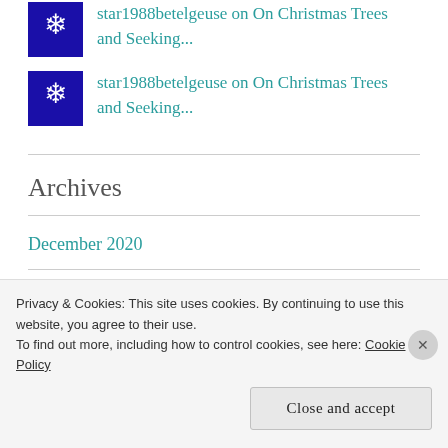star1988betelgeuse on On Christmas Trees and Seeking...
star1988betelgeuse on On Christmas Trees and Seeking...
Archives
December 2020
November 2020
Privacy & Cookies: This site uses cookies. By continuing to use this website, you agree to their use. To find out more, including how to control cookies, see here: Cookie Policy
Close and accept